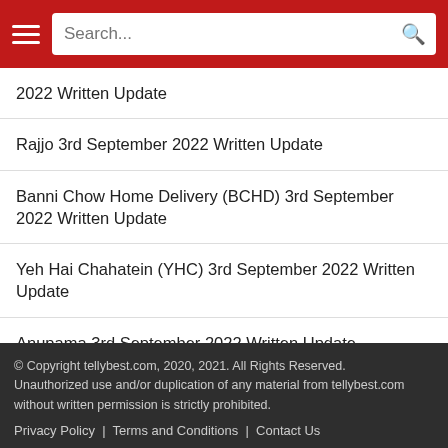Search...
2022 Written Update
Rajjo 3rd September 2022 Written Update
Banni Chow Home Delivery (BCHD) 3rd September 2022 Written Update
Yeh Hai Chahatein (YHC) 3rd September 2022 Written Update
Anupama 3rd September 2022 Written Update
Yeh Rishta Kya Kehlata Hai (YRKKH) 3rd September 2022 Written Update
© Copyright tellybest.com, 2020, 2021. All Rights Reserved. Unauthorized use and/or duplication of any material from tellybest.com without written permission is strictly prohibited.

Privacy Policy | Terms and Conditions | Contact Us